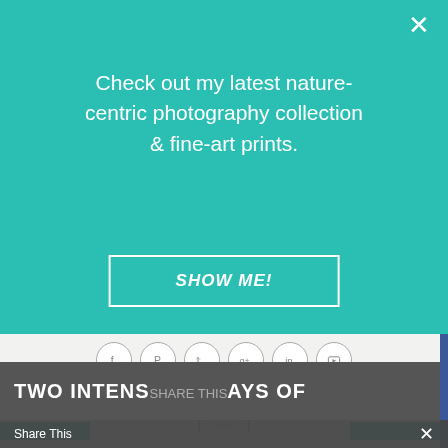[Figure (screenshot): Website popup overlay with teal background. Shows text: 'Check out my latest nature-centric photography collection & fine-art prints.' with a 'SHOW ME!' button. Below is a website header with social icons, search icon, a circular logo reading 'SOMETHING NEW FOR DINNER', hamburger menu, navigation arrows, share bar, and bottom title 'TWO INTENSE DAYS OF...' with a 'Share This' bar at the bottom.]